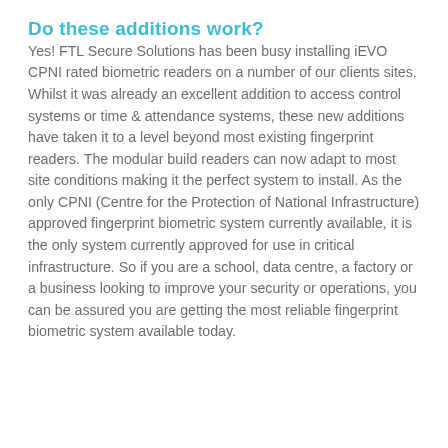Do these additions work?
Yes! FTL Secure Solutions has been busy installing iEVO CPNI rated biometric readers on a number of our clients sites. Whilst it was already an excellent addition to access control systems or time & attendance systems, these new additions have taken it to a level beyond most existing fingerprint readers. The modular build readers can now adapt to most site conditions making it the perfect system to install. As the only CPNI (Centre for the Protection of National Infrastructure) approved fingerprint biometric system currently available, it is the only system currently approved for use in critical infrastructure. So if you are a school, data centre, a factory or a business looking to improve your security or operations, you can be assured you are getting the most reliable fingerprint biometric system available today.